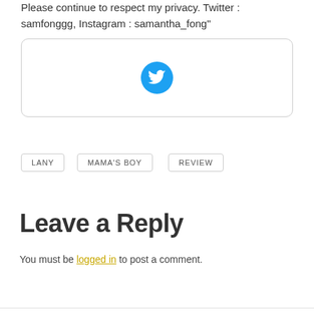Please continue to respect my privacy. Twitter : samfonggg, Instagram : samantha_fong"
[Figure (other): A rounded rectangle box containing a Twitter bird icon (blue circle with white bird)]
LANY
MAMA'S BOY
REVIEW
Leave a Reply
You must be logged in to post a comment.